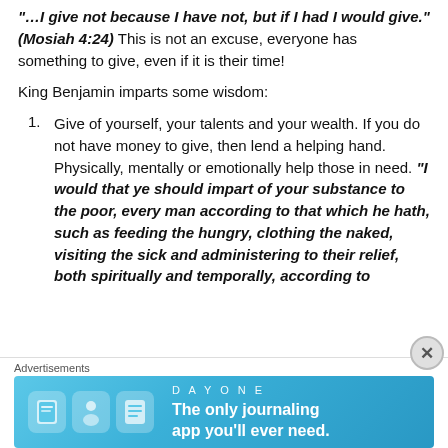"…I give not because I have not, but if I had I would give." (Mosiah 4:24) This is not an excuse, everyone has something to give, even if it is their time!
King Benjamin imparts some wisdom:
Give of yourself, your talents and your wealth. If you do not have money to give, then lend a helping hand. Physically, mentally or emotionally help those in need. “I would that ye should impart of your substance to the poor, every man according to that which he hath, such as feeding the hungry, clothing the naked, visiting the sick and administering to their relief, both spiritually and temporally, according to their wants.” (Mosiah 4:26)
Advertisements
[Figure (other): Day One journaling app advertisement banner with blue background, app icons, and text: 'The only journaling app you'll ever need.']